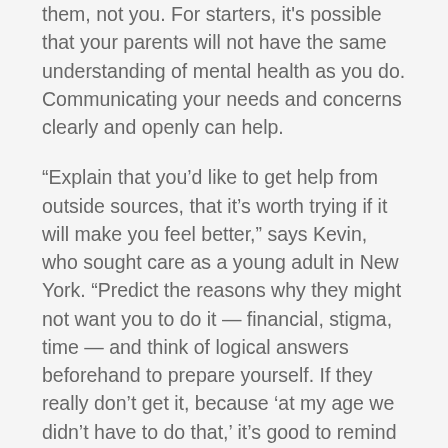them, not you. For starters, it's possible that your parents will not have the same understanding of mental health as you do. Communicating your needs and concerns clearly and openly can help.
“Explain that you’d like to get help from outside sources, that it’s worth trying if it will make you feel better,” says Kevin, who sought care as a young adult in New York. “Predict the reasons why they might not want you to do it — financial, stigma, time — and think of logical answers beforehand to prepare yourself. If they really don’t get it, because ‘at my age we didn’t have to do that,’ it’s good to remind them that times change. Modern problems require modern solutions.”